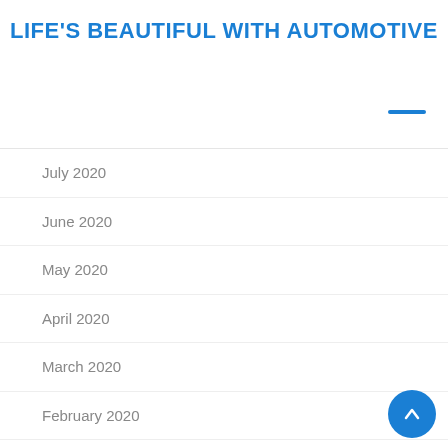LIFE'S BEAUTIFUL WITH AUTOMOTIVE
July 2020
June 2020
May 2020
April 2020
March 2020
February 2020
January 2020
December 2019